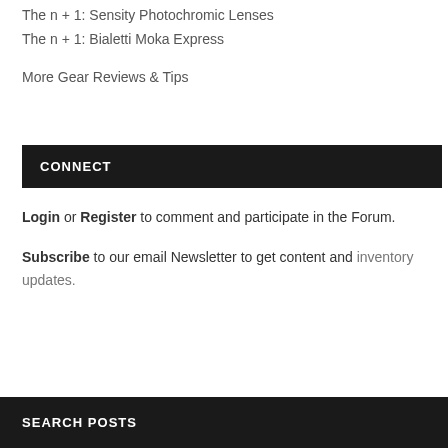The n + 1: Sensity Photochromic Lenses
The n + 1: Bialetti Moka Express
More Gear Reviews & Tips
CONNECT
Login or Register to comment and participate in the Forum.
Subscribe to our email Newsletter to get content and inventory updates.
SEARCH POSTS